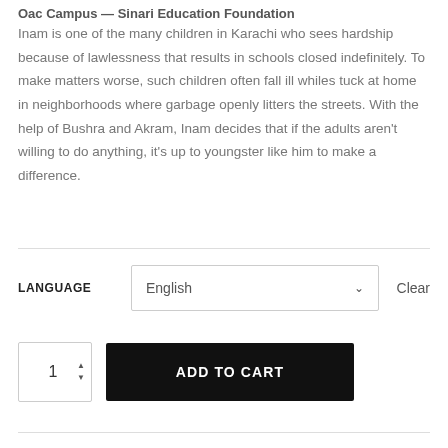Oac Campus — Sinari Education Foundation
Inam is one of the many children in Karachi who sees hardship because of lawlessness that results in schools closed indefinitely. To make matters worse, such children often fall ill whiles tuck at home in neighborhoods where garbage openly litters the streets. With the help of Bushra and Akram, Inam decides that if the adults aren't willing to do anything, it's up to youngster like him to make a difference.
LANGUAGE  English  Clear
1  ADD TO CART